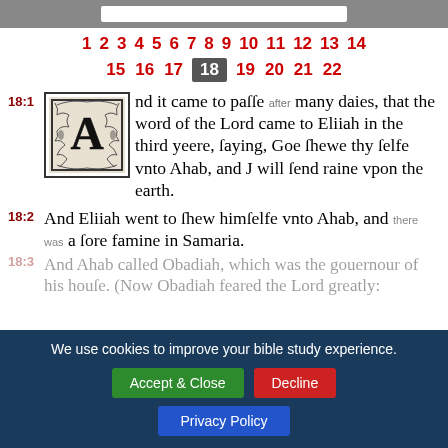1 2 3 4 5 6 7 8 9 10 11 12 13 14
15 16 17 18 19 20 21 22
18:1 And it came to passe after many daies, that the word of the Lord came to Eliiah in the third yeere, saying, Goe shewe thy selfe vnto Ahab, and I will send raine vpon the earth.
18:2 And Eliiah went to shew himselfe vnto Ahab, and there was a sore famine in Samaria.
18:3 And Ahab called Obadiah, which was the governour of his house. (Now Obadiah feared the Lord greatly:
We use cookies to improve your bible study experience. Accept & Close  Decline  Privacy Policy